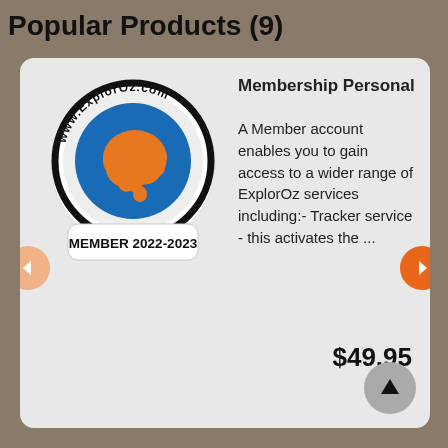Popular Products (9)
[Figure (logo): ExplorOz circular membership sticker logo with www.ExplorOz.com text around a blue circle containing an orange Australia map, with MEMBER 2022-2023 text below]
Membership Personal
A Member account enables you to gain access to a wider range of ExplorOz services including:- Tracker service - this activates the ...
$49.95